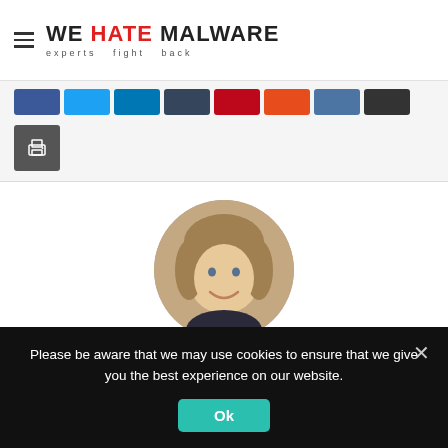[Figure (logo): We Hate Malware logo with hamburger menu icon. Text: WE HATE MALWARE, experts fight back]
[Figure (other): Row of social sharing buttons: Facebook, Twitter, LinkedIn, Tumblr, Pinterest, Reddit, VK, More, and a Print button]
[Figure (photo): Circular headshot photo of Bill Gordon, a smiling man with light brown hair]
Bill Gordon
Please be aware that we may use cookies to ensure that we give you the best experience on our website.